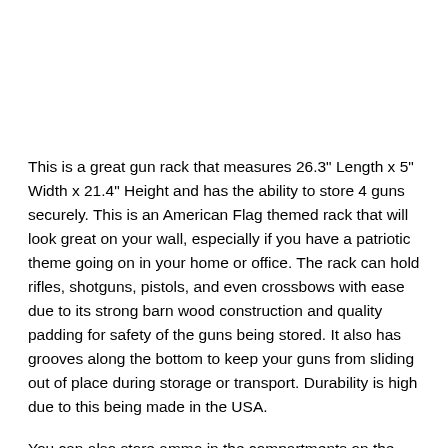This is a great gun rack that measures 26.3" Length x 5" Width x 21.4" Height and has the ability to store 4 guns securely. This is an American Flag themed rack that will look great on your wall, especially if you have a patriotic theme going on in your home or office. The rack can hold rifles, shotguns, pistols, and even crossbows with ease due to its strong barn wood construction and quality padding for safety of the guns being stored. It also has grooves along the bottom to keep your guns from sliding out of place during storage or transport. Durability is high due to this being made in the USA.
You can also store ammo in the compartments on the bottom of the unit, giving you more storage space in your